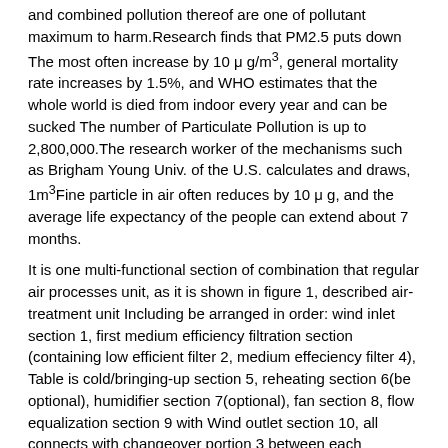and combined pollution thereof are one of pollutant maximum to harm.Research finds that PM2.5 puts down The most often increase by 10 μ g/m³, general mortality rate increases by 1.5%, and WHO estimates that the whole world is died from indoor every year and can be sucked The number of Particulate Pollution is up to 2,800,000.The research worker of the mechanisms such as Brigham Young Univ. of the U.S. calculates and draws, 1m³Fine particle in air often reduces by 10 μ g, and the average life expectancy of the people can extend about 7 months.
It is one multi-functional section of combination that regular air processes unit, as it is shown in figure 1, described air-treatment unit Including be arranged in order: wind inlet section 1, first medium efficiency filtration section (containing low efficient filter 2, medium effeciency filter 4), Table is cold/bringing-up section 5, reheating section 6(be optional), humidifier section 7(optional), fan section 8, flow equalization section 9 with Wind outlet section 10, all connects with changeover portion 3 between each functional section, and reheating section 6 therein, humidifier section 7 can roots Require that the height of class selects to arrange or be not